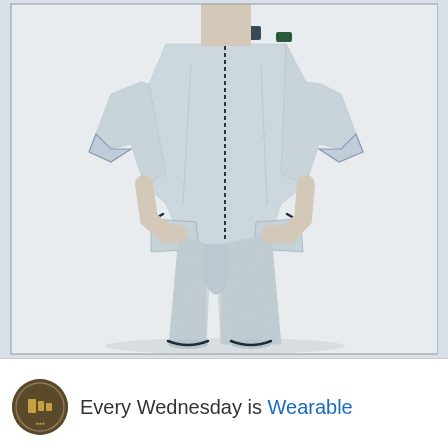[Figure (photo): A person wearing a light grey/blue quilted jumpsuit with drop crotch and short legs, standing against a white background with hands in pockets. The jumpsuit has a front zipper, dark-trimmed pockets, and a diagonal textured pattern.]
Every Wednesday is Wearable